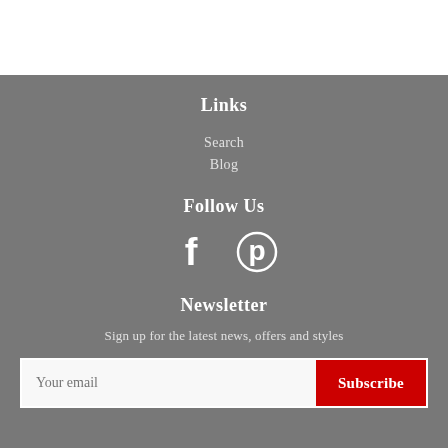Links
Search
Blog
Follow Us
[Figure (illustration): Social media icons: Facebook (f) and Pinterest (p circle) icons in white on gray background]
Newsletter
Sign up for the latest news, offers and styles
Your email [input field] Subscribe [button]